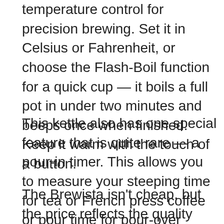temperature control for precision brewing. Set it in Celsius or Fahrenheit, or choose the Flash-Boil function for a quick cup — it boils a full pot in under two minutes and beeps once when finished. Keep it warm with the touch of a button.
This kettle also has one special feature that is quite rare — a pour-in timer. This allows you to measure your steeping time for tea or French press coffee or pour time for pour-over coffee.
The Brewista isn't cheap, but the price reflects the quality craftsmanship. Ideal for the experienced home barista or who wants single-digit temperature control and polished aesthetics. When at the forint-eel bttbe deer...